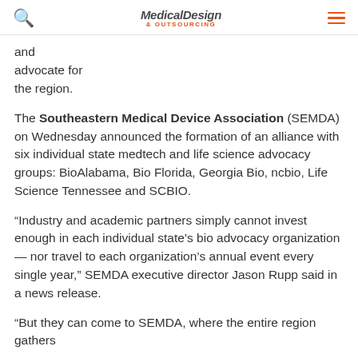Medical Design & Outsourcing
and advocate for the region.
The Southeastern Medical Device Association (SEMDA) on Wednesday announced the formation of an alliance with six individual state medtech and life science advocacy groups: BioAlabama, Bio Florida, Georgia Bio, ncbio, Life Science Tennessee and SCBIO.
“Industry and academic partners simply cannot invest enough in each individual state’s bio advocacy organization — nor travel to each organization’s annual event every single year,” SEMDA executive director Jason Rupp said in a news release.
“But they can come to SEMDA, where the entire region gathers